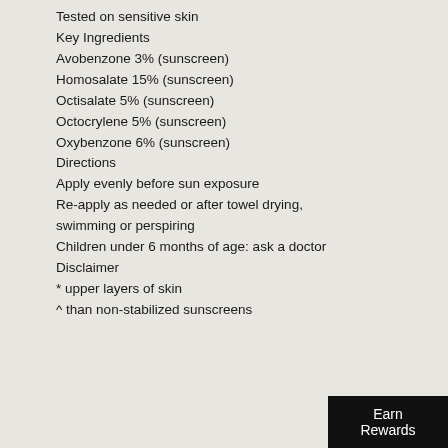Tested on sensitive skin
Key Ingredients
Avobenzone 3% (sunscreen)
Homosalate 15% (sunscreen)
Octisalate 5% (sunscreen)
Octocrylene 5% (sunscreen)
Oxybenzone 6% (sunscreen)
Directions
Apply evenly before sun exposure
Re-apply as needed or after towel drying, swimming or perspiring
Children under 6 months of age: ask a doctor
Disclaimer
* upper layers of skin
^ than non-stabilized sunscreens
Earn Rewards